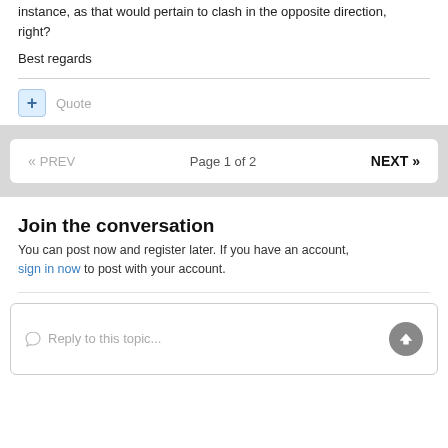instance, as that would pertain to clash in the opposite direction, right?
Best regards
Quote
« PREV   Page 1 of 2   NEXT »
Join the conversation
You can post now and register later. If you have an account, sign in now to post with your account.
Reply to this topic...